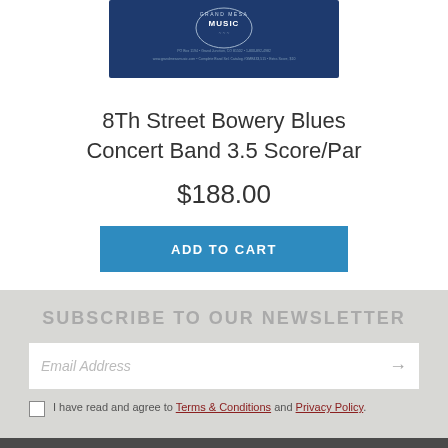[Figure (logo): Grand Mesa Music logo — dark navy blue banner with circular emblem and text]
8Th Street Bowery Blues Concert Band 3.5 Score/Par
$188.00
ADD TO CART
SUBSCRIBE TO OUR NEWSLETTER
Email Address
I have read and agree to Terms & Conditions and Privacy Policy.